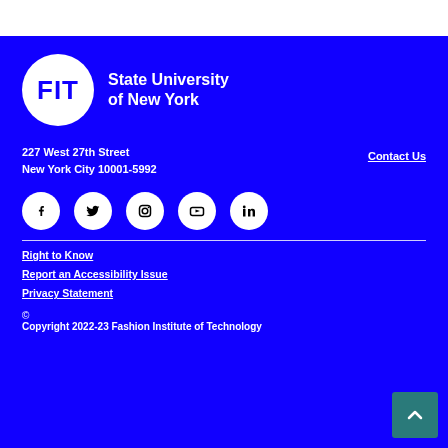[Figure (logo): FIT - State University of New York logo. White circle with blue FIT text, next to white text reading State University of New York.]
227 West 27th Street
New York City 10001-5992
Contact Us
[Figure (other): Row of social media icons: Facebook, Twitter, Instagram, YouTube, LinkedIn — all white circles with black icons.]
Right to Know
Report an Accessibility Issue
Privacy Statement
©
Copyright 2022-23 Fashion Institute of Technology